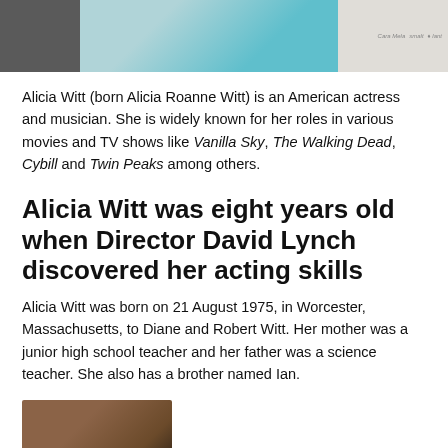[Figure (photo): Top photo strip showing a person in a teal/turquoise outfit with logos visible on the right side]
Alicia Witt (born Alicia Roanne Witt) is an American actress and musician. She is widely known for her roles in various movies and TV shows like Vanilla Sky, The Walking Dead, Cybill and Twin Peaks among others.
Alicia Witt was eight years old when Director David Lynch discovered her acting skills
Alicia Witt was born on 21 August 1975, in Worcester, Massachusetts, to Diane and Robert Witt. Her mother was a junior high school teacher and her father was a science teacher. She also has a brother named Ian.
[Figure (photo): Partial photo at the bottom left, showing a person with brown/golden tones]